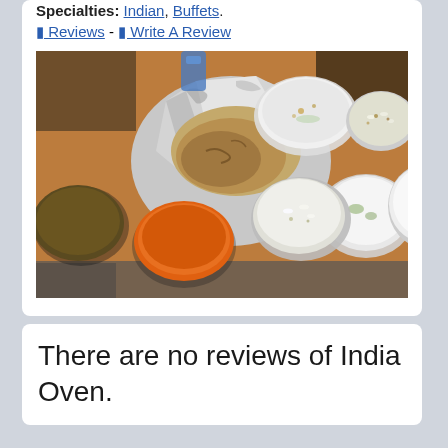Specialties: Indian, Buffets.
🔲 Reviews - 🔲 Write A Review
[Figure (photo): Photo of an Indian food spread on a wooden table: naan bread wrapped in foil in the center, surrounded by several small cups/bowls containing orange curry, raita/yogurt dips, rice dishes, and other condiments.]
There are no reviews of India Oven.